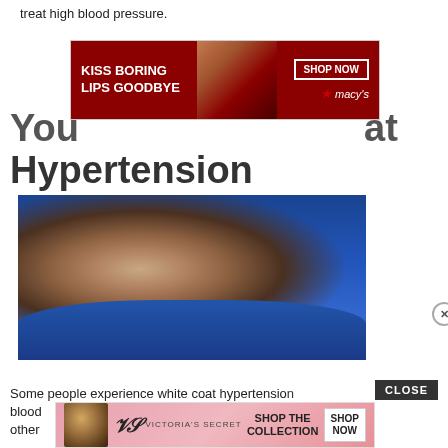treat high blood pressure.
[Figure (screenshot): Macy's advertisement banner: 'KISS BORING LIPS GOODBYE' with woman's face and red lips, SHOP NOW button, Macy's logo]
You... at Hypertension
[Figure (photo): Man sleeping/snoring in bed on blue pillow, mouth open, with black video overlay in bottom right corner and X close button]
Some people experience white coat hypertension... blood... other...
[Figure (screenshot): Victoria's Secret advertisement banner: woman's face, VS logo, SHOP THE COLLECTION, SHOP NOW button]
CLOSE button overlay